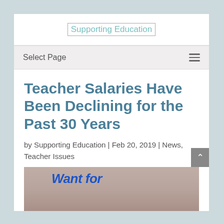Supporting Education
Select Page
Teacher Salaries Have Been Declining for the Past 30 Years
by Supporting Education | Feb 20, 2019 | News, Teacher Issues
[Figure (photo): Photo of protest sign reading 'Want for' with people in background]